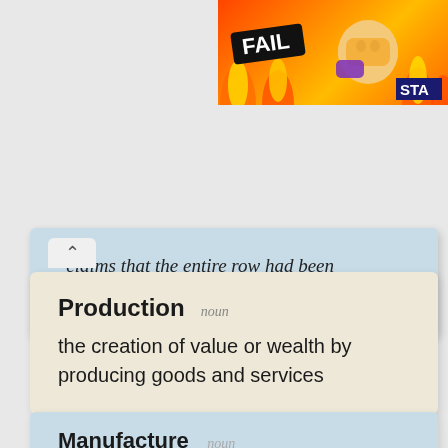[Figure (illustration): Top-right banner with orange/fire background, 'FAIL' badge text, cartoon character, and 'STA' label at bottom right]
‘claims that the entire row had been manufactured by the press’;
Production  noun
the creation of value or wealth by producing goods and services
Manufacture  noun